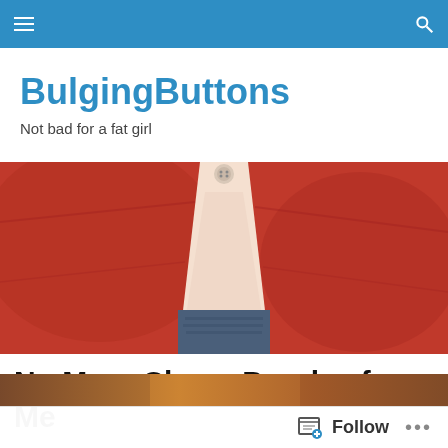BulgingButtons navigation bar
BulgingButtons
Not bad for a fat girl
[Figure (photo): Close-up photo of a red shirt straining at a button, showing a gap with jeans visible underneath]
No More Cheap Puzzles for Me
[Figure (photo): Partial teaser image strip at bottom of page]
Follow